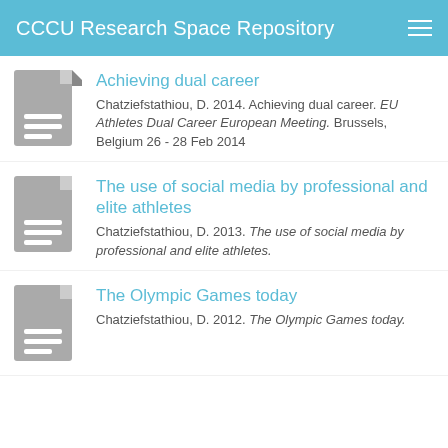CCCU Research Space Repository
Achieving dual career
Chatziefstathiou, D. 2014. Achieving dual career. EU Athletes Dual Career European Meeting. Brussels, Belgium 26 - 28 Feb 2014
The use of social media by professional and elite athletes
Chatziefstathiou, D. 2013. The use of social media by professional and elite athletes.
The Olympic Games today
Chatziefstathiou, D. 2012. The Olympic Games today.